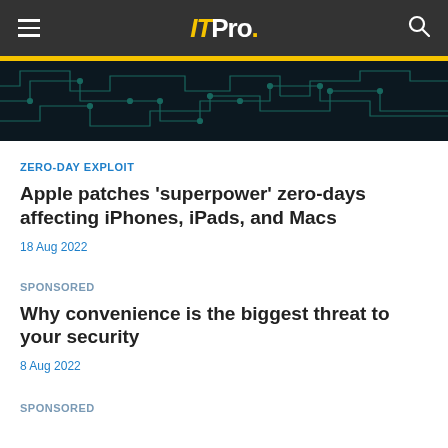IT Pro.
[Figure (photo): Dark circuit board background image with teal/green circuit traces on black background]
ZERO-DAY EXPLOIT
Apple patches 'superpower' zero-days affecting iPhones, iPads, and Macs
18 Aug 2022
SPONSORED
Why convenience is the biggest threat to your security
8 Aug 2022
SPONSORED